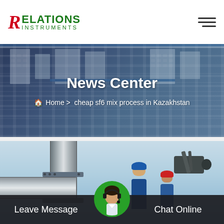Relations Instruments
News Center
Home > cheap sf6 mix process in Kazakhstan
[Figure (photo): Industrial facility exterior with blue trim, showing a factory/warehouse building used as banner background]
[Figure (photo): Industrial pipeline and equipment with workers in hard hats visible in background against blue sky]
Leave Message
Chat Online